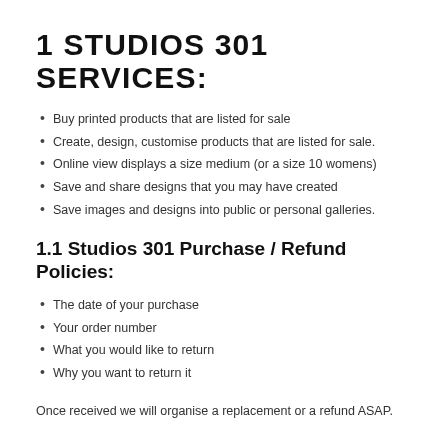1  STUDIOS 301 SERVICES:
Buy printed products that are listed for sale
Create, design, customise products that are listed for sale.
Online view displays a size medium (or a size 10 womens)
Save and share designs that you may have created
Save images and designs into public or personal galleries.
1.1 Studios 301 Purchase / Refund Policies:
The date of your purchase
Your order number
What you would like to return
Why you want to return it
Once received we will organise a replacement or a refund ASAP.